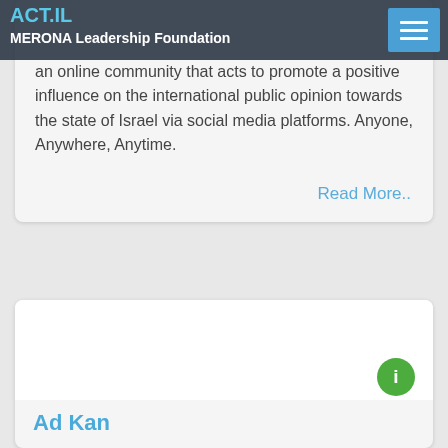ACT.IL MERONA Leadership Foundation
an online community that acts to promote a positive influence on the international public opinion towards the state of Israel via social media platforms. Anyone, Anywhere, Anytime.
Read More..
Ad Kan